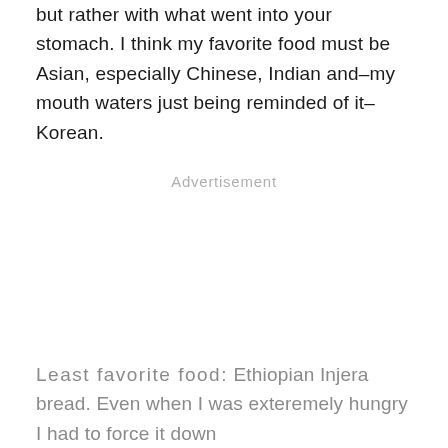but rather with what went into your stomach. I think my favorite food must be Asian, especially Chinese, Indian and–my mouth waters just being reminded of it–Korean.
Advertisement
Least favorite food: Ethiopian Injera bread. Even when I was exteremely hungry I had to force it down